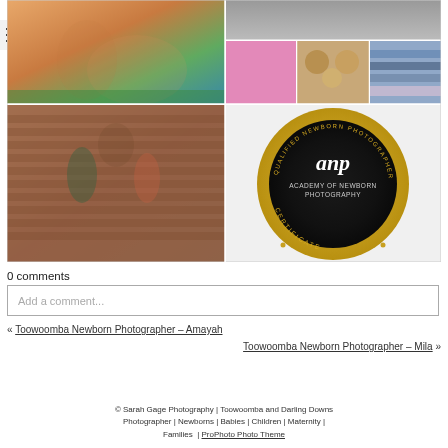[Figure (photo): Collage of four photos: top-left shows a pregnant woman sitting on grass hugged by children; top-right shows a strip of baby items (hanging clothes, teddy bears, folded fabrics); bottom-left shows a woman hugging two children against a brick wall; bottom-right shows the Academy of Newborn Photography (ANP) qualified newborn photographer certificate badge (gold circular seal on dark background).]
0 comments
Add a comment...
« Toowoomba Newborn Photographer – Amayah
Toowoomba Newborn Photographer – Mila »
© Sarah Gage Photography | Toowoomba and Darling Downs Photographer | Newborns | Babies | Children | Maternity | Families | ProPhoto Photo Theme